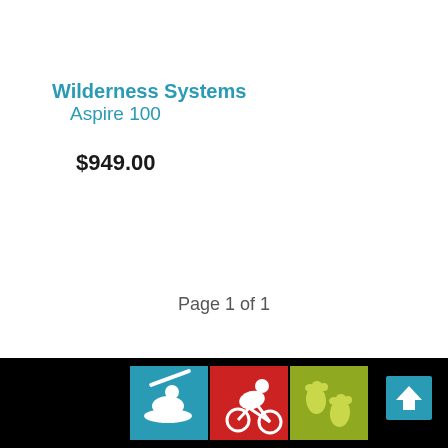Wilderness Systems Aspire 100
$949.00
Page 1 of 1
[Figure (illustration): Footer navigation bar with three sport icons (kayaking, mountain biking, hiking/footprints) on a black background, plus a teal back-to-top arrow button]